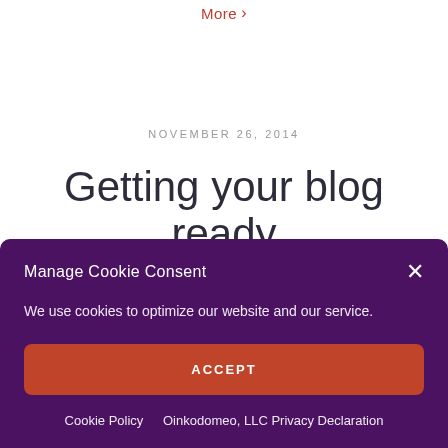More >
NOVEMBER 26, 2014
Getting your blog ready for Social Selling:
Manage Cookie Consent
We use cookies to optimize our website and our service.
ACCEPT
Cookie Policy   Oinkodomeo, LLC Privacy Declaration